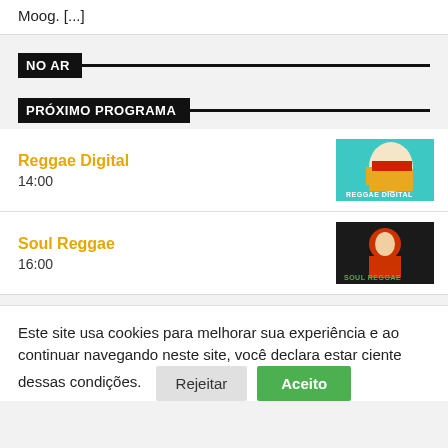Moog. [...]
NO AR
PRÓXIMO PROGRAMA
Reggae Digital
14:00
Soul Reggae
16:00
Este site usa cookies para melhorar sua experiência e ao continuar navegando neste site, você declara estar ciente dessas condições.
Rejeitar   Aceito